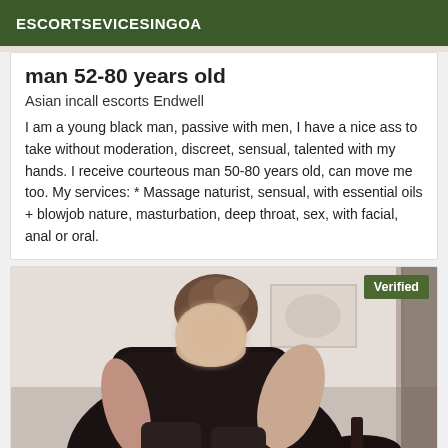ESCORTSEVICESINGOA
man 52-80 years old
Asian incall escorts Endwell
I am a young black man, passive with men, I have a nice ass to take without moderation, discreet, sensual, talented with my hands. I receive courteous man 50-80 years old, can move me too. My services: * Massage naturist, sensual, with essential oils + blowjob nature, masturbation, deep throat, sex, with facial, anal or oral.
[Figure (photo): Photo of a woman in black lace clothing, seated, with face blurred. A 'Verified' badge appears in the top-right corner of the image.]